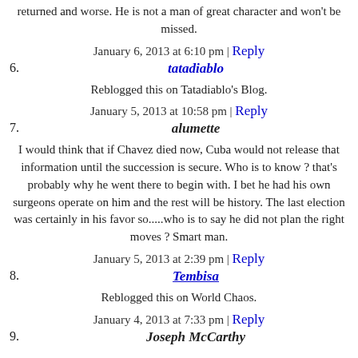returned and worse. He is not a man of great character and won't be missed.
January 6, 2013 at 6:10 pm | Reply
6. tatadiablo
Reblogged this on Tatadiablo's Blog.
January 5, 2013 at 10:58 pm | Reply
7. alumette
I would think that if Chavez died now, Cuba would not release that information until the succession is secure. Who is to know ? that's probably why he went there to begin with. I bet he had his own surgeons operate on him and the rest will be history. The last election was certainly in his favor so.....who is to say he did not plan the right moves ? Smart man.
January 5, 2013 at 2:39 pm | Reply
8. Tembisa
Reblogged this on World Chaos.
January 4, 2013 at 7:33 pm | Reply
9. Joseph McCarthy